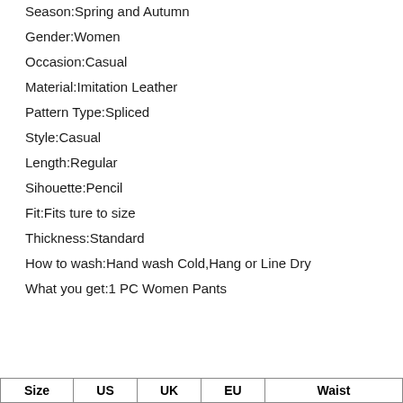Season:Spring and Autumn
Gender:Women
Occasion:Casual
Material:Imitation Leather
Pattern Type:Spliced
Style:Casual
Length:Regular
Sihouette:Pencil
Fit:Fits ture to size
Thickness:Standard
How to wash:Hand wash Cold,Hang or Line Dry
What you get:1 PC Women Pants
| Size | US | UK | EU | Waist |
| --- | --- | --- | --- | --- |